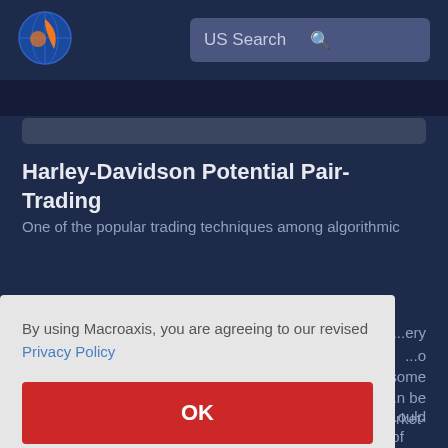[Figure (logo): Macroaxis globe logo — blue circle with orange crescent]
US Search
Harley-Davidson Potential Pair-Trading
One of the popular trading techniques among algorithmic traders is pair trading, which is a market-neutral strategy that allows traders to profit from virtually any market condition. The strategy can be utilized to identify some potential pairs of stocks that can be traded together and can be constructed as a long-short portfolio based on market-neutral arbitrage strategies. The resulting pair trade portfolio would also be used in its relative valuation, which is a method of
By using Macroaxis, you are agreeing to our revised Privacy Policy
OK